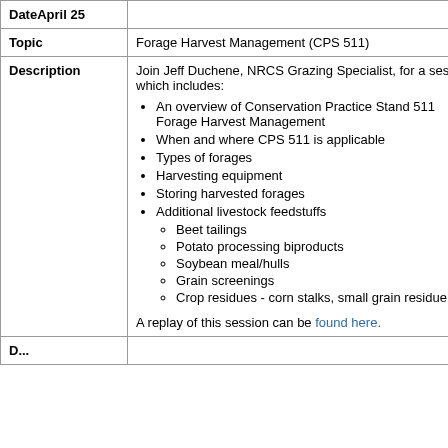| Date | April 25 |  |
| --- | --- | --- |
| Topic | Forage Harvest Management (CPS 511) |  |
| Description | Join Jeff Duchene, NRCS Grazing Specialist, for a session which includes: An overview of Conservation Practice Standard 511 Forage Harvest Management; When and where CPS 511 is applicable; Types of forages; Harvesting equipment; Storing harvested forages; Additional livestock feedstuffs (Beet tailings, Potato processing biproducts, Soybean meal/hulls, Grain screenings, Crop residues - corn stalks, small grain residue, etc); A replay of this session can be found here. |  |